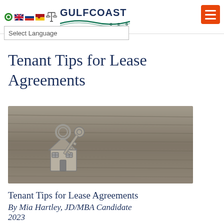GULFCOAST | C E S — header with flag icons and hamburger menu
Tenant Tips for Lease Agreements
[Figure (photo): A house-shaped keychain and a metal key on a rustic wooden surface, photographed in black and white tones.]
Tenant Tips for Lease Agreements
By Mia Hartley, JD/MBA Candidate 2023